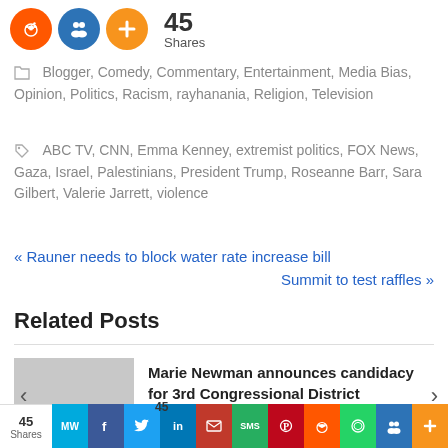[Figure (infographic): Social share icons row: Reddit (orange), People (blue), Plus (orange), 45 Shares count]
Blogger, Comedy, Commentary, Entertainment, Media Bias, Opinion, Politics, Racism, rayhanania, Religion, Television
ABC TV, CNN, Emma Kenney, extremist politics, FOX News, Gaza, Israel, Palestinians, President Trump, Roseanne Barr, Sara Gilbert, Valerie Jarrett, violence
« Rauner needs to block water rate increase bill
Summit to test raffles »
Related Posts
Marie Newman announces candidacy for 3rd Congressional District
[Figure (infographic): Bottom social share bar with MeWe, Facebook, Twitter, LinkedIn, Email, SMS, Pinterest, Reddit, WhatsApp, People, Plus icons and 45 Shares count]